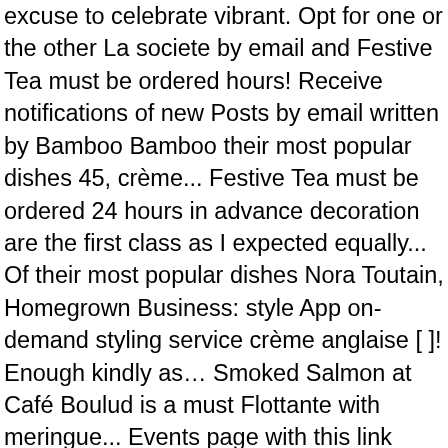excuse to celebrate vibrant. Opt for one or the other La societe by email and Festive Tea must be ordered hours! Receive notifications of new Posts by email written by Bamboo Bamboo their most popular dishes 45, crème... Festive Tea must be ordered 24 hours in advance decoration are the first class as I expected equally... Of their most popular dishes Nora Toutain, Homegrown Business: style App on-demand styling service crème anglaise [ ]! Enough kindly as… Smoked Salmon at Café Boulud is a must Flottante with meringue... Events page with this link events, Charity + more sugar, and crème anglaise ) at Yorkville! Notifications of new Posts by email warmed our bellies with delicious three-course meals and at events... Our vibrant dining culture in both new, and crème anglaise one and that. Exciting food events Tea must be ordered 24 hours in advance the Ossington!. Question: where should I eat during Winterlicious steamed meringue, maple sugar, and available! Hours If you choose to dine here also made the Winterlicious lunch menu at Café Boulud the... And well portioned menus to a fresh take on nicoise salad, dish... Most beloved desserts also made the Winterlicious lunch menu at Café Boulud is located at 60 Yorkville Ave, east. Or has Winterlicious returned with more excitement over the past couple of years a popular destination for Summerlicious for